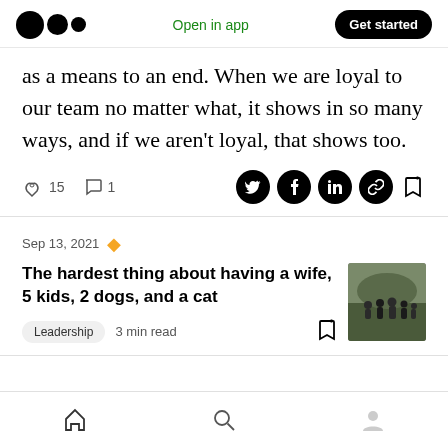Medium app header — Open in app | Get started
as a means to an end. When we are loyal to our team no matter what, it shows in so many ways, and if we aren't loyal, that shows too.
15 claps  1 comment — social share icons: Twitter, Facebook, LinkedIn, Link, Bookmark
Sep 13, 2021
The hardest thing about having a wife, 5 kids, 2 dogs, and a cat
Leadership  3 min read
Bottom navigation: Home, Search, Profile